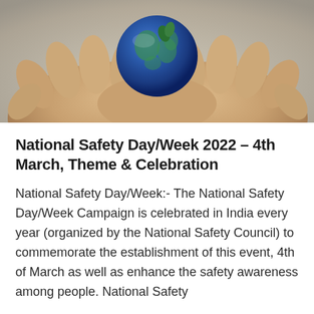[Figure (photo): Hands cupping a small blue Earth globe, photographed from above. The image shows two hands gently holding the globe against a warm background.]
National Safety Day/Week 2022 – 4th March, Theme & Celebration
National Safety Day/Week:- The National Safety Day/Week Campaign is celebrated in India every year (organized by the National Safety Council) to commemorate the establishment of this event, 4th of March as well as enhance the safety awareness among people. National Safety